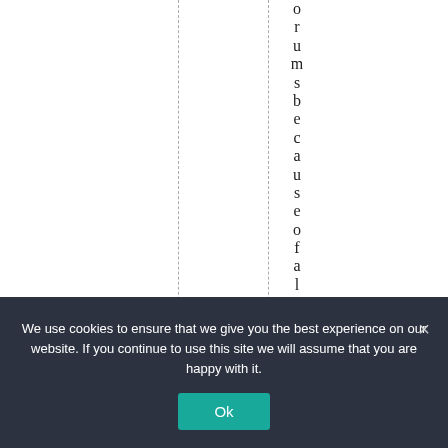orumsbeauseofaclack
We use cookies to ensure that we give you the best experience on our website. If you continue to use this site we will assume that you are happy with it. Ok ×